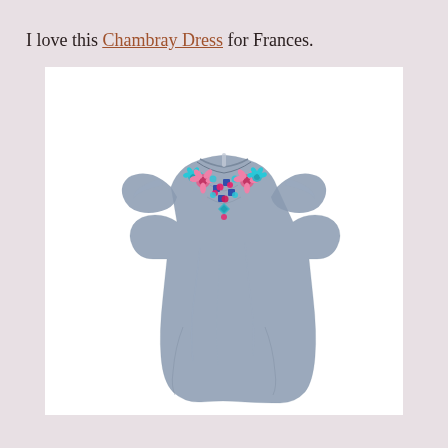I love this Chambray Dress for Frances.
[Figure (photo): A children's chambray dress with flutter sleeves and colorful floral embroidery at the neckline, shown on a white background.]